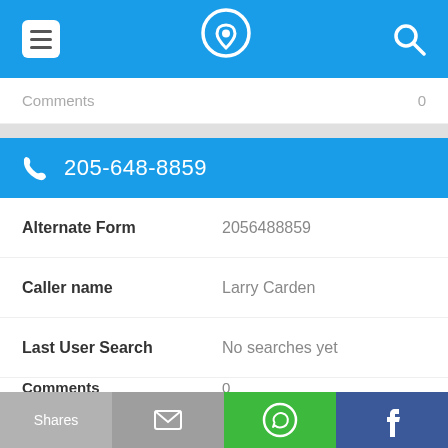Navigation bar with menu, phone locator logo, and search icons
Comments   0
205-648-8859
Alternate Form   2056488859
Caller name   Larry Carden
Last User Search   No searches yet
Comments   0
205-648-8316
Shares  [email icon]  [WhatsApp icon]  [Facebook icon]